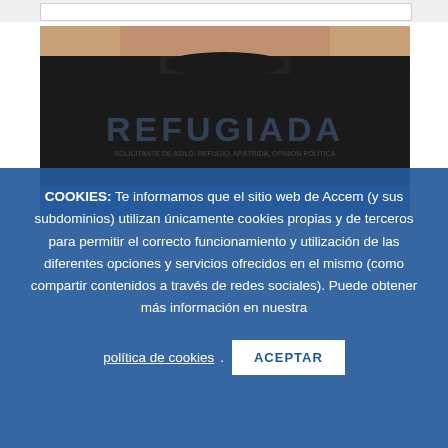[Figure (photo): Person wearing a black t-shirt with 'REFUGIADA' printed on it, shown from neck/chin down to torso. The lower portion transitions into a blue cookie consent banner overlay.]
COOKIES: Te informamos que el sitio web de Accem (y sus subdominios) utilizan únicamente cookies propias y de terceros para permitir el correcto funcionamiento y utilización de las diferentes opciones y servicios ofrecidos en el mismo (como compartir contenidos a través de redes sociales). Puede obtener más información en nuestra política de cookies. ACEPTAR